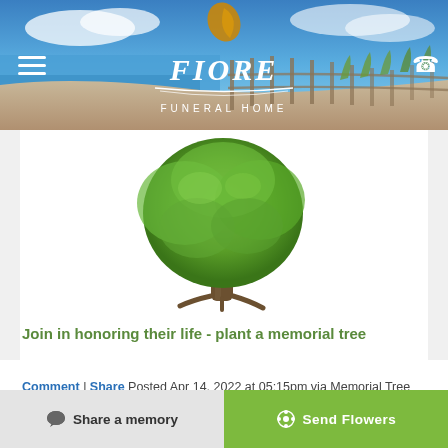[Figure (screenshot): Fiore Funeral Home website header with beach background, logo with leaf, hamburger menu, and phone icon]
[Figure (photo): A large green leafy tree standing alone on a white background, used as memorial tree image]
Join in honoring their life - plant a memorial tree
Comment | Share Posted Apr 14, 2022 at 05:15pm via Memorial Tree
Share a memory | Send Flowers